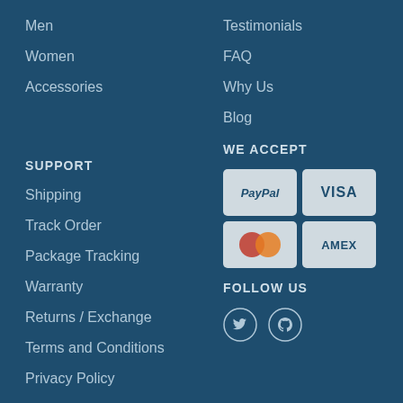Men
Women
Accessories
Testimonials
FAQ
Why Us
Blog
SUPPORT
Shipping
Track Order
Package Tracking
Warranty
Returns / Exchange
Terms and Conditions
Privacy Policy
WE ACCEPT
[Figure (logo): Payment method logos: PayPal, VISA, MasterCard, AMEX]
FOLLOW US
[Figure (logo): Social media icons: Twitter, Pinterest]
SUBSCRIBE